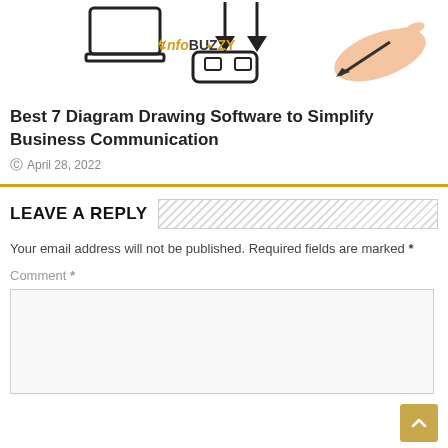[Figure (illustration): Diagram drawing software illustration showing laptop, VR headset, arrows and a hand drawing with a pen, with InfoBuzzy logo in the center]
Best 7 Diagram Drawing Software to Simplify Business Communication
April 28, 2022
LEAVE A REPLY
Your email address will not be published. Required fields are marked *
Comment *